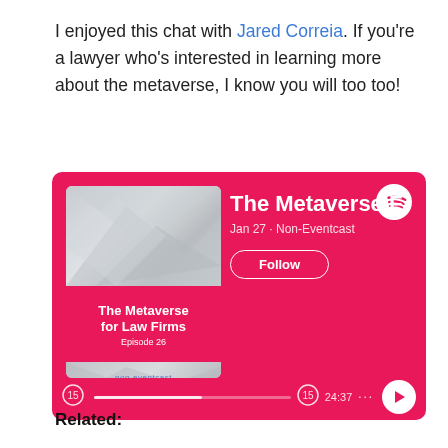I enjoyed this chat with Jared Correia. If you're a lawyer who's interested in learning more about the metaverse, I know you will too too!
[Figure (screenshot): Spotify podcast player card for 'The Metaverse for Law Firms' episode, Episode 26, Jan 27 · Non-Eventcast, with Follow button, progress bar showing 24:37, and play button. Hot pink background with album art showing geometric polygon shapes.]
Related: